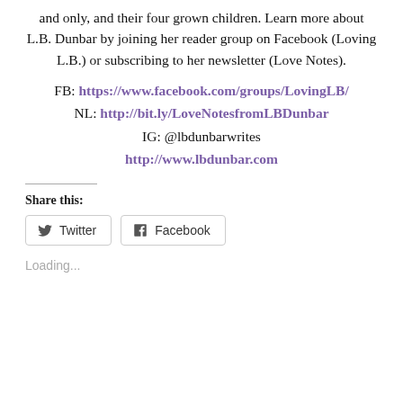and only, and their four grown children. Learn more about L.B. Dunbar by joining her reader group on Facebook (Loving L.B.) or subscribing to her newsletter (Love Notes).
FB: https://www.facebook.com/groups/LovingLB/
NL: http://bit.ly/LoveNotesfromLBDunbar
IG: @lbdunbarwrites
http://www.lbdunbar.com
Share this:
Twitter  Facebook
Loading...